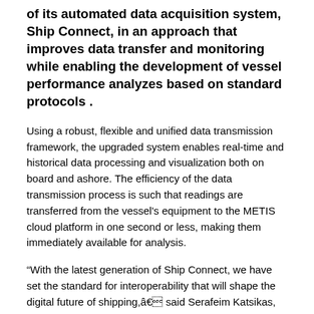of its automated data acquisition system, Ship Connect, in an approach that improves data transfer and monitoring while enabling the development of vessel performance analyzes based on standard protocols .
Using a robust, flexible and unified data transmission framework, the upgraded system enables real-time and historical data processing and visualization both on board and ashore. The efficiency of the data transmission process is such that readings are transferred from the vessel's equipment to the METIS cloud platform in one second or less, making them immediately available for analysis.
“With the latest generation of Ship Connect, we have set the standard for interoperability that will shape the digital future of shipping,â€ said Serafeim Katsikas, CTO, METIS Cyberspace Technology. “The system is lightweight, efficient and compatible with all data sources, requiring minimal resources and optimizing network bandwidth. It is not only blazingly fast, but also secure and reliable, giving shipowners a solid foundation on which to base key operational decisions to improve vessel performance, durability and